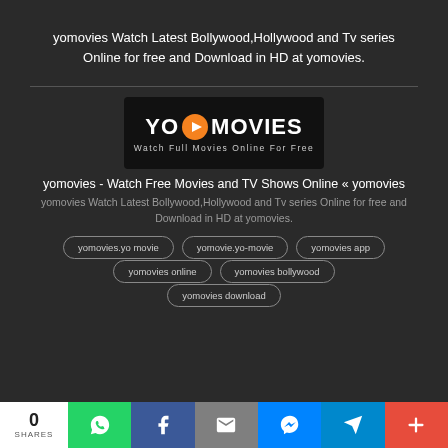yomovies Watch Latest Bollywood,Hollywood and Tv series Online for free and Download in HD at yomovies.
[Figure (logo): YoMovies logo - black background with YO text, orange play button, MOVIES text and tagline 'Watch Full Movies Online For Free']
yomovies - Watch Free Movies and TV Shows Online « yomovies
yomovies Watch Latest Bollywood,Hollywood and Tv series Online for free and Download in HD at yomovies.
yomovies.yo movie
yomovie.yo-movie
yomovies app
yomovies online
yomovies bollywood
yomovies download
0 SHARES